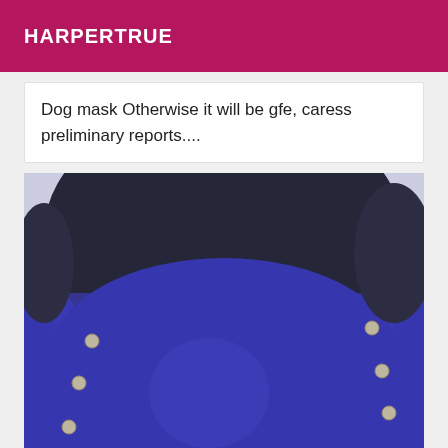HARPERTRUE
Dog mask Otherwise it will be gfe, caress preliminary reports....
[Figure (photo): Close-up photo of a person wearing a dark black top and bright royal blue pants/jeans with metallic snap buttons along the sides.]